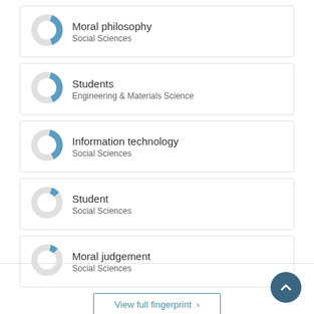[Figure (donut-chart): Donut chart showing roughly 40% fill in blue]
Moral philosophy
Social Sciences
[Figure (donut-chart): Donut chart showing roughly 40% fill in blue]
Students
Engineering & Materials Science
[Figure (donut-chart): Donut chart showing roughly 40% fill in blue]
Information technology
Social Sciences
[Figure (donut-chart): Donut chart showing roughly 10% fill in blue]
Student
Social Sciences
[Figure (donut-chart): Donut chart showing roughly 10% fill in blue]
Moral judgement
Social Sciences
View full fingerprint >